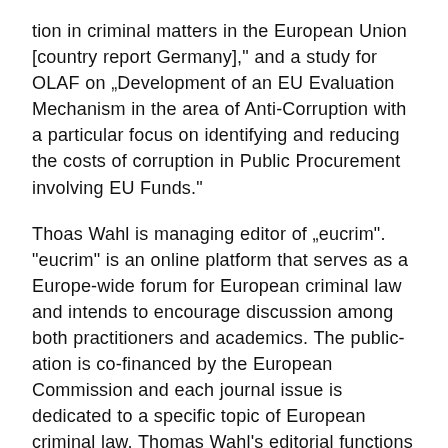tion in criminal matters in the European Union [country report Germany]," and a study for OLAF on „Development of an EU Evaluation Mechanism in the area of Anti-Corruption with a particular focus on identifying and reducing the costs of corruption in Public Procurement involving EU Funds."
Thoas Wahl is managing editor of „eucrim". "eucrim" is an online platform that serves as a Europe-wide forum for European criminal law and intends to encourage discussion among both practitioners and academics. The publication is co-financed by the European Commission and each journal issue is dedicated to a specific topic of European criminal law. Thomas Wahl's editorial functions include the analysis and presentation of current developments in the European Union and the Council of Europe related to criminal law. He is also responsible for maintain-